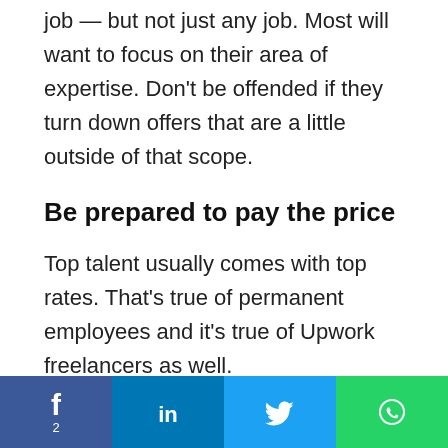job — but not just any job. Most will want to focus on their area of expertise. Don't be offended if they turn down offers that are a little outside of that scope.
Be prepared to pay the price
Top talent usually comes with top rates. That's true of permanent employees and it's true of Upwork freelancers as well.
If you're looking to hire the best person for the job,
[Figure (other): Social media share bar at the bottom with Facebook (count: 2), LinkedIn, Twitter, and WhatsApp buttons]